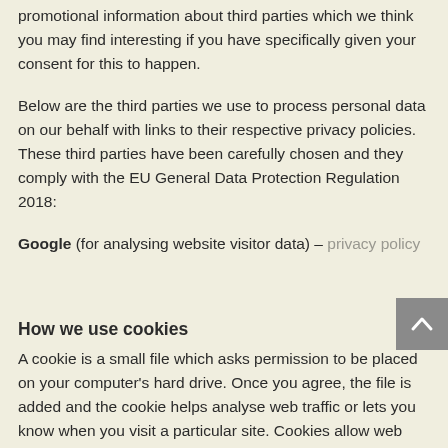promotional information about third parties which we think you may find interesting if you have specifically given your consent for this to happen.
Below are the third parties we use to process personal data on our behalf with links to their respective privacy policies. These third parties have been carefully chosen and they comply with the EU General Data Protection Regulation 2018:
Google (for analysing website visitor data) – privacy policy
How we use cookies
A cookie is a small file which asks permission to be placed on your computer's hard drive. Once you agree, the file is added and the cookie helps analyse web traffic or lets you know when you visit a particular site. Cookies allow web applications to